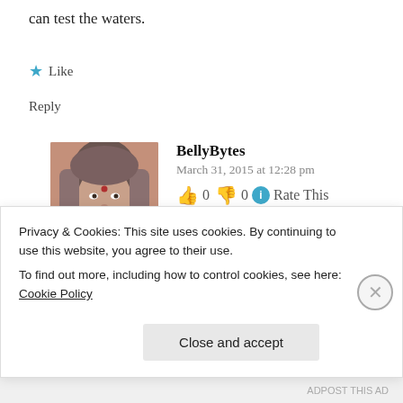can test the waters.
Like
Reply
[Figure (photo): Avatar photo of BellyBytes commenter — woman with gray hair]
BellyBytes
March 31, 2015 at 12:28 pm
👍 0 👎 0 ℹ Rate This
Thanks for this tip but do I use WordPress or Blogger?
Privacy & Cookies: This site uses cookies. By continuing to use this website, you agree to their use.
To find out more, including how to control cookies, see here: Cookie Policy
Close and accept